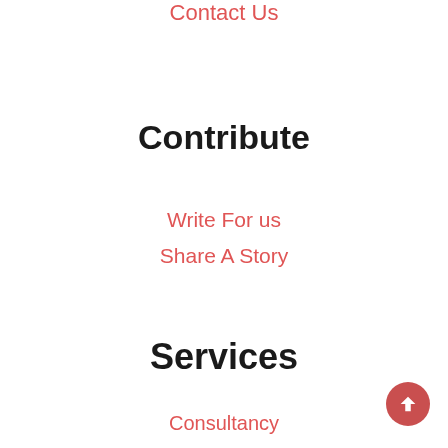Contact Us
Contribute
Write For us
Share A Story
Services
Consultancy
Legal
Privacy
Terms
Di…